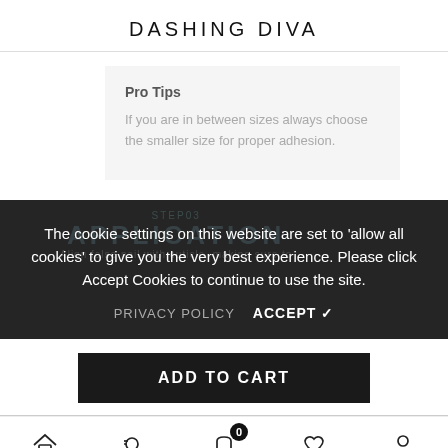DASHING DIVA
Pro Tips
If you are in between sizes always choose the smaller size for proper adhesion.
The cookie settings on this website are set to 'allow all cookies' to give you the very best experience. Please click Accept Cookies to continue to use the site.
PRIVACY POLICY   ACCEPT ✓
ADD TO CART